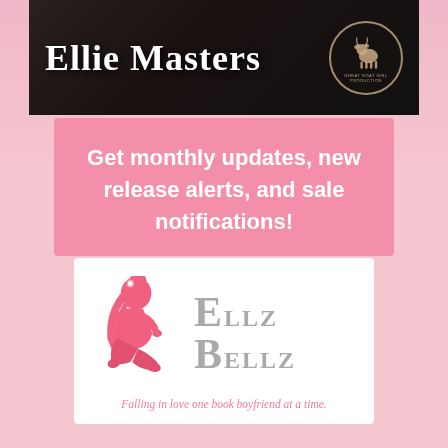[Figure (photo): Book cover portion showing author name 'Ellie Masters' in white serif font on a dark leather background, with a circular goat logo (Great Goat Girl Production) in the upper right corner]
Get monthly updates, new release alerts, and sale notifications!
[Figure (logo): Ellz Bellz logo: pink silhouette of a woman sitting, beside gray serif text 'Ellz Bellz', with pink italic cursive tagline 'Falling in love one book boyfriend at a time.']